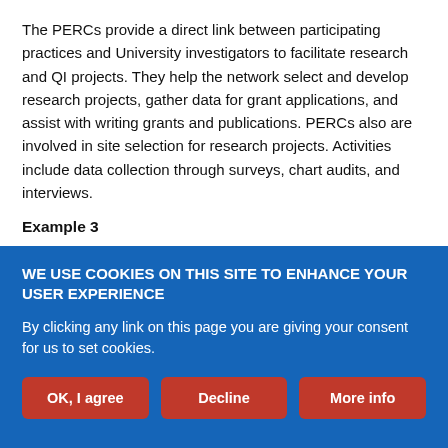The PERCs provide a direct link between participating practices and University investigators to facilitate research and QI projects. They help the network select and develop research projects, gather data for grant applications, and assist with writing grants and publications. PERCs also are involved in site selection for research projects. Activities include data collection through surveys, chart audits, and interviews.
Example 3
PERCs have successfully assisted providers in a variety of projects, including a study of chronic opioid therapy and preventive services in
WE USE COOKIES ON THIS SITE TO ENHANCE YOUR USER EXPERIENCE

By clicking any link on this page you are giving your consent for us to set cookies.